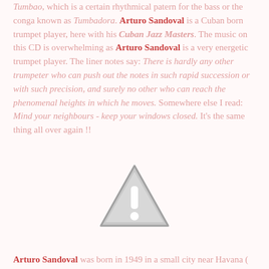Tumbao, which is a certain rhythmical patern for the bass or the conga known as Tumbadora. Arturo Sandoval is a Cuban born trumpet player, here with his Cuban Jazz Masters. The music on this CD is overwhelming as Arturo Sandoval is a very energetic trumpet player. The liner notes say: There is hardly any other trumpeter who can push out the notes in such rapid succession or with such precision, and surely no other who can reach the phenomenal heights in which he moves. Somewhere else I read: Mind your neighbours - keep your windows closed. It's the same thing all over again !!
[Figure (illustration): Warning/caution triangle icon with exclamation mark, gray colored]
Arturo Sandoval was born in 1949 in a small city near Havana (